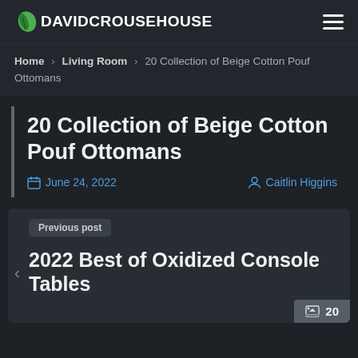DAVIDCROUSEHOUSE
Home › Living Room › 20 Collection of Beige Cotton Pouf Ottomans
20 Collection of Beige Cotton Pouf Ottomans
June 24, 2022  Caitlin Higgins
Previous post
2022 Best of Oxidized Console Tables
20